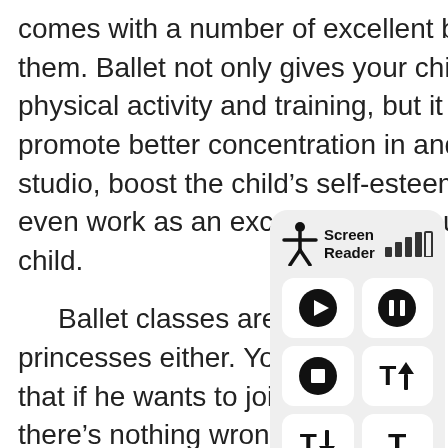comes with a number of excellent benefits for them. Ballet not only gives your child adequate physical activity and training, but it will also promote better concentration in and out of the studio, boost the child's self-esteem levels, and even work as an excellent social outlet for the child.
Ballet classes aren't just for princesses either. You can e… that if he wants to join ballet there's nothing wrong with t… professional football players right? If pro ball players take their training regimen there something beneficial for eve… not just for the tough guys e…
[Figure (screenshot): Screen Reader widget overlay showing accessibility controls: a header with an accessibility icon (person with arms out), 'Screen Reader' label, and signal strength bars; six buttons in a 2x3 grid: play, pause, stop, text size up (T↑), text size down (T↓), and plain T.]